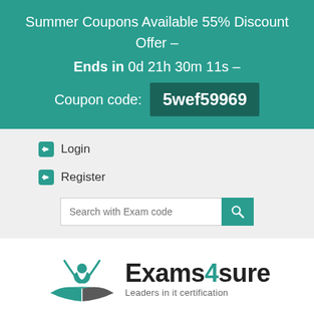Summer Coupons Available 55% Discount Offer – Ends in 0d 21h 30m 11s – Coupon code: 5wef59969
Login
Register
[Figure (logo): Exams4sure logo with person above open book and text 'Exams4sure – Leaders in it certification']
HOME    ALL VENDORS